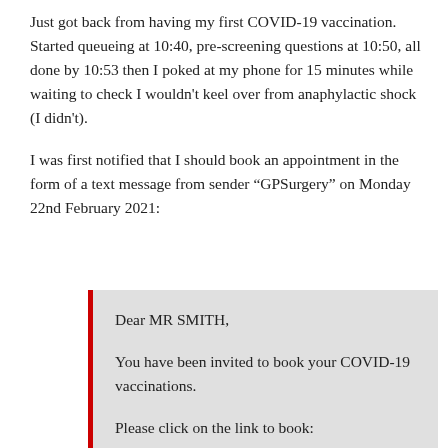Just got back from having my first COVID-19 vaccination. Started queueing at 10:40, pre-screening questions at 10:50, all done by 10:53 then I poked at my phone for 15 minutes while waiting to check I wouldn't keel over from anaphylactic shock (I didn't).
I was first notified that I should book an appointment in the form of a text message from sender “GPSurgery” on Monday 22nd February 2021:
Dear MR SMITH,

You have been invited to book your COVID-19 vaccinations.

Please click on the link to book: